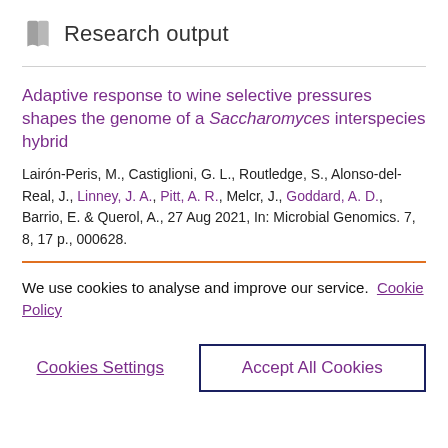Research output
Adaptive response to wine selective pressures shapes the genome of a Saccharomyces interspecies hybrid
Lairón-Peris, M., Castiglioni, G. L., Routledge, S., Alonso-del-Real, J., Linney, J. A., Pitt, A. R., Melcr, J., Goddard, A. D., Barrio, E. & Querol, A., 27 Aug 2021, In: Microbial Genomics. 7, 8, 17 p., 000628.
We use cookies to analyse and improve our service. Cookie Policy
Cookies Settings
Accept All Cookies